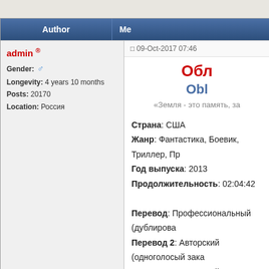| Author | Me... |
| --- | --- |
| admin ®
Gender: ♂
Longevity: 4 years 10 months
Posts: 20170
Location: Россия | 09-Oct-2017 07:46
Обл... / Obl...
«Земля - это память, за...
Страна: США
Жанр: Фантастика, Боевик, Триллер, Пр...
Год выпуска: 2013
Продолжительность: 02:04:42
Перевод: Профессиональный (дублирова...
Перевод 2: Авторский (одноголосый зака...
Перевод 3: Авторский (одноголосый зака...
Субтитры: русские,английские
Оригинальная аудиодорожка: английск...
Режиссер: Джозеф Косински / Joseph Ko... |